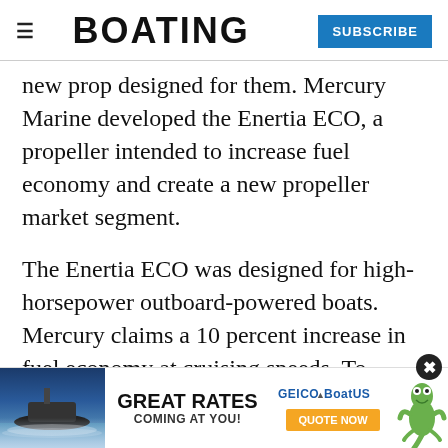≡  BOATING  SUBSCRIBE
new prop designed for them. Mercury Marine developed the Enertia ECO, a propeller intended to increase fuel economy and create a new propeller market segment.
The Enertia ECO was designed for high-horsepower outboard-powered boats. Mercury claims a 10 percent increase in fuel economy at cruising speeds. To maximize the fuel economy of the Enertia ECO, propeller with a 16-inch diameter large
[Figure (photo): GEICO BoatUS advertisement banner with boat image, 'GREAT RATES COMING AT YOU!' text, and a gecko mascot with a Quote Now button]